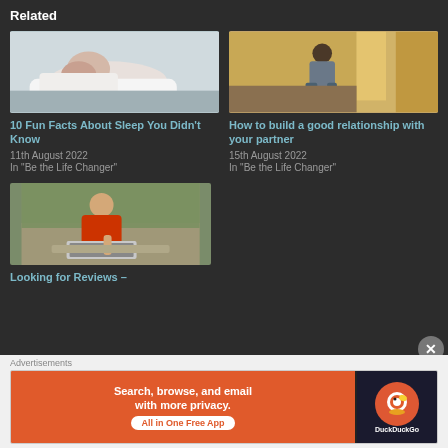Related
[Figure (photo): Person sleeping on white pillow, wearing white top]
10 Fun Facts About Sleep You Didn't Know
11th August 2022
In "Be the Life Changer"
[Figure (photo): Person doing yoga or stretching in a room with boxes]
How to build a good relationship with your partner
15th August 2022
In "Be the Life Changer"
[Figure (photo): Young man in red shirt studying with laptop outdoors]
Looking for Reviews –
[Figure (infographic): DuckDuckGo advertisement banner: Search, browse, and email with more privacy. All in One Free App]